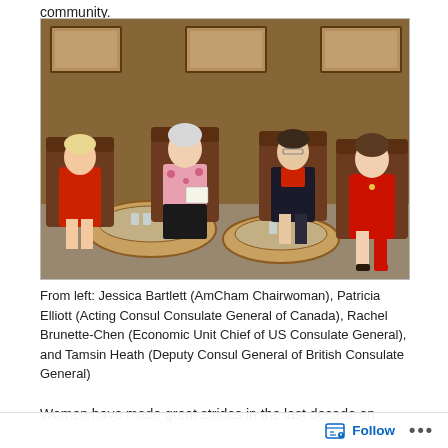community.
[Figure (photo): Four women seated in leather chairs in a wood-paneled room having a panel discussion. From left: a woman in a red dress, a woman in a pink floral top with black pants holding papers, a woman in a dark blazer with a red top, and a woman in a red dress. Two round glass-top coffee tables are in the foreground.]
From left: Jessica Bartlett (AmCham Chairwoman), Patricia Elliott (Acting Consul Consulate General of Canada), Rachel Brunette-Chen (Economic Unit Chief of US Consulate General), and Tamsin Heath (Deputy Consul General of British Consulate General)
Women have made great strides in the last decade on
Follow ...